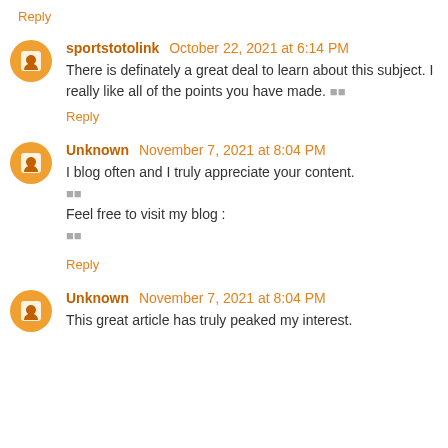Reply
sportstotolink October 22, 2021 at 6:14 PM
There is definately a great deal to learn about this subject. I really like all of the points you have made. 🔲🔲
Reply
Unknown November 7, 2021 at 8:04 PM
I blog often and I truly appreciate your content.
🔲🔲
Feel free to visit my blog :
🔲🔲
Reply
Unknown November 7, 2021 at 8:04 PM
This great article has truly peaked my interest.